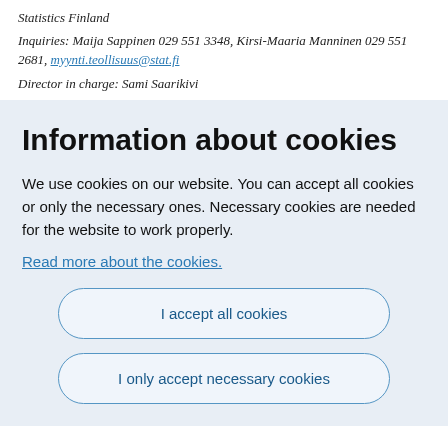Statistics Finland
Inquiries: Maija Sappinen 029 551 3348, Kirsi-Maaria Manninen 029 551 2681, myynti.teollisuus@stat.fi
Director in charge: Sami Saarikivi
Information about cookies
We use cookies on our website. You can accept all cookies or only the necessary ones. Necessary cookies are needed for the website to work properly.
Read more about the cookies.
I accept all cookies
I only accept necessary cookies